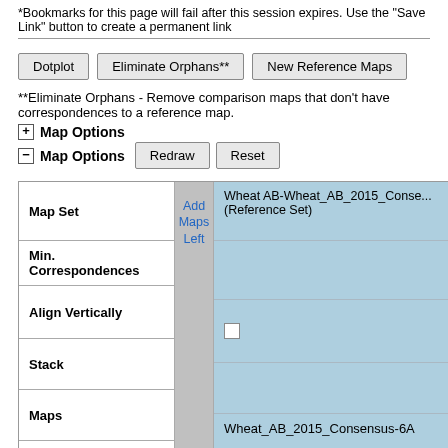*Bookmarks for this page will fail after this session expires. Use the "Save Link" button to create a permanent link
Dotplot  |  Eliminate Orphans**  |  New Reference Maps
**Eliminate Orphans - Remove comparison maps that don't have correspondences to a reference map.
+ Map Options
- Map Options  Redraw  Reset
| Map Set | Add Maps Left | Wheat AB-Wheat_AB_2015_Conse... (Reference Set) |
| --- | --- | --- |
| Min. Correspondences |  |  |
| Align Vertically |  | ☐ |
| Stack |  |  |
| Maps |  | Wheat_AB_2015_Consensus-6A |
| Start |  | -3.9 |
| Stop |  | 131.2 |